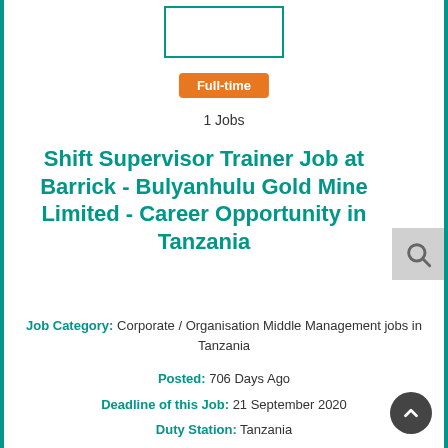[Figure (logo): Company logo placeholder box with teal border]
Full-time
1 Jobs
Shift Supervisor Trainer Job at Barrick - Bulyanhulu Gold Mine Limited - Career Opportunity in Tanzania
Job Category: Corporate / Organisation Middle Management jobs in Tanzania
Posted: 706 Days Ago
Deadline of this Job: 21 September 2020
Duty Station: Tanzania